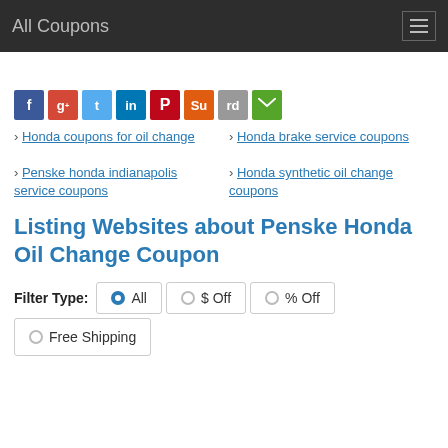All Coupons
[Figure (infographic): Social media sharing icon buttons: Facebook, Google+, Twitter, LinkedIn, Pinterest, StumbleUpon, Reddit, Email]
Honda coupons for oil change
Honda brake service coupons
Penske honda indianapolis service coupons
Honda synthetic oil change coupons
Listing Websites about Penske Honda Oil Change Coupon
Filter Type: All  $ Off  % Off  Free Shipping